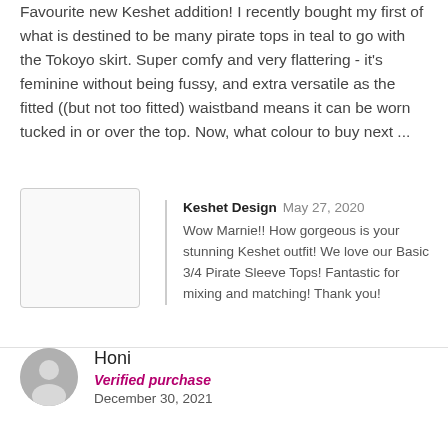Favourite new Keshet addition! I recently bought my first of what is destined to be many pirate tops in teal to go with the Tokoyo skirt. Super comfy and very flattering - it's feminine without being fussy, and extra versatile as the fitted ((but not too fitted) waistband means it can be worn tucked in or over the top. Now, what colour to buy next ...
[Figure (photo): Small square photo placeholder with light border]
Keshet Design May 27, 2020
Wow Marnie!! How gorgeous is your stunning Keshet outfit! We love our Basic 3/4 Pirate Sleeve Tops! Fantastic for mixing and matching! Thank you!
Honi
Verified purchase
December 30, 2021